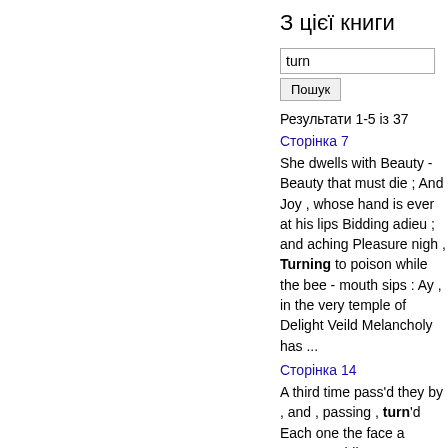З цієї книги
turn
Пошук
Результати 1-5 із 37
Сторінка 7
She dwells with Beauty - Beauty that must die ; And Joy , whose hand is ever at his lips Bidding adieu ; and aching Pleasure nigh , Turning to poison while the bee - mouth sips : Ay , in the very temple of Delight Veild Melancholy has ...
Сторінка 14
A third time pass'd they by , and , passing , turn'd Each one the face a moment whiles to , me . The f...